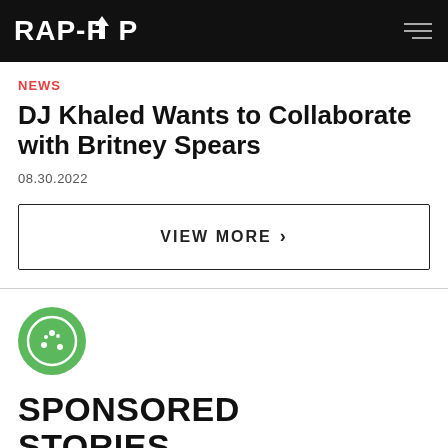RAP-UP
NEWS
DJ Khaled Wants to Collaborate with Britney Spears
08.30.2022
VIEW MORE >
[Figure (logo): Green circle with cookie icon]
SPONSORED STORIES